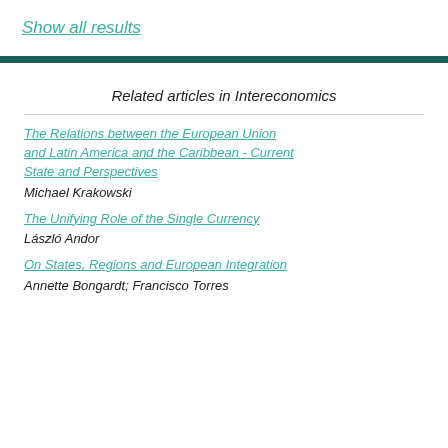Show all results
Related articles in Intereconomics
The Relations between the European Union and Latin America and the Caribbean - Current State and Perspectives
Michael Krakowski
The Unifying Role of the Single Currency
László Andor
On States, Regions and European Integration
Annette Bongardt; Francisco Torres